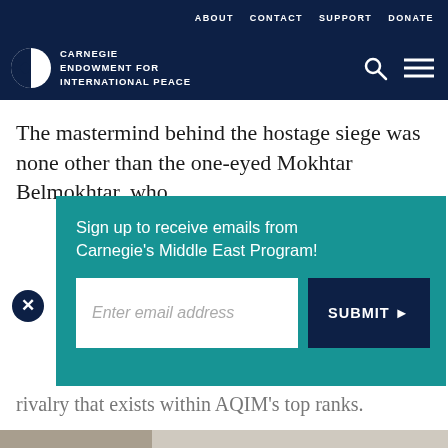ABOUT  CONTACT  SUPPORT  DONATE
[Figure (logo): Carnegie Endowment for International Peace logo with globe icon and navigation icons (search, menu)]
The mastermind behind the hostage siege was none other than the one-eyed Mokhtar Belmokhtar, who
Sign up to receive emails from Carnegie's Middle East Program!
Enter email address
SUBMIT ▶
rivalry that exists within AQIM's top ranks.
Print | Link | Facebook | Twitter | WhatsApp | Messenger | LinkedIn